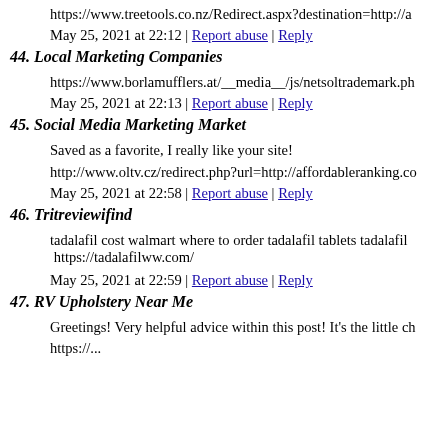https://www.treetools.co.nz/Redirect.aspx?destination=http://a
May 25, 2021 at 22:12 | Report abuse | Reply
44. Local Marketing Companies
https://www.borlamufflers.at/__media__/js/netsoltrademark.ph
May 25, 2021 at 22:13 | Report abuse | Reply
45. Social Media Marketing Market
Saved as a favorite, I really like your site!
http://www.oltv.cz/redirect.php?url=http://affordableranking.co
May 25, 2021 at 22:58 | Report abuse | Reply
46. Tritreviewifind
tadalafil cost walmart where to order tadalafil tablets tadalafil https://tadalafilww.com/
May 25, 2021 at 22:59 | Report abuse | Reply
47. RV Upholstery Near Me
Greetings! Very helpful advice within this post! It's the little ch
https://...